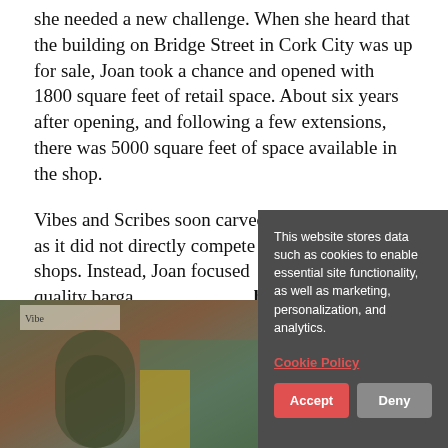she needed a new challenge. When she heard that the building on Bridge Street in Cork City was up for sale, Joan took a chance and opened with 1800 square feet of retail space. About six years after opening, and following a few extensions, there was 5000 square feet of space available in the shop.
Vibes and Scribes soon carved a niche for itself as it did not directly compete with the big chain shops. Instead, Joan focused [on providing] quality barga[in] books.
[Figure (photo): Bottom portion showing storefront photos of Vibes and Scribes bookshop, partially obscured by cookie consent overlay]
This website stores data such as cookies to enable essential site functionality, as well as marketing, personalization, and analytics.

Cookie Policy

Accept    Deny